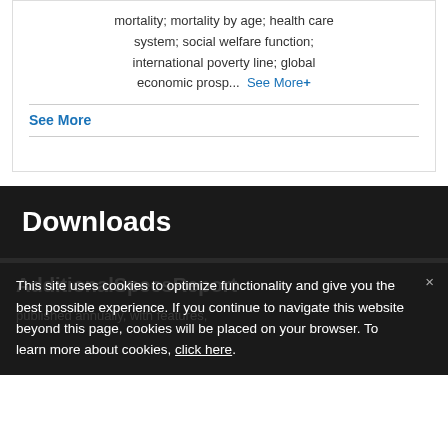mortality; mortality by age; health care system; social welfare function; international poverty line; global economic prosp...
See More+
See More
Downloads
This site uses cookies to optimize functionality and give you the best possible experience. If you continue to navigate this website beyond this page, cookies will be placed on your browser. To learn more about cookies, click here.